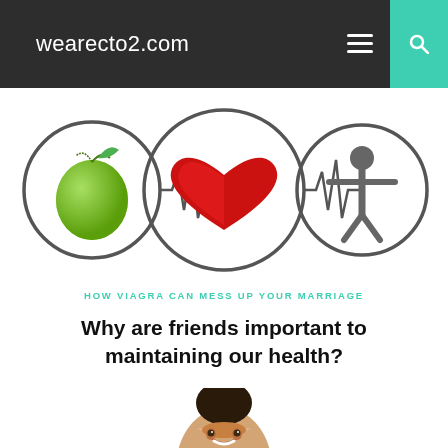wearecto2.com
[Figure (logo): Health logo with three circles connected by ECG heartbeat line: left circle contains a green apple, center circle contains a red heart, right circle contains a grey human figure icon]
HOW VIAGRA CAN MESS UP YOUR MARRIAGE
Why are friends important to maintaining our health?
[Figure (photo): Partial photo of a smiling woman with dark hair, cropped at bottom of page]